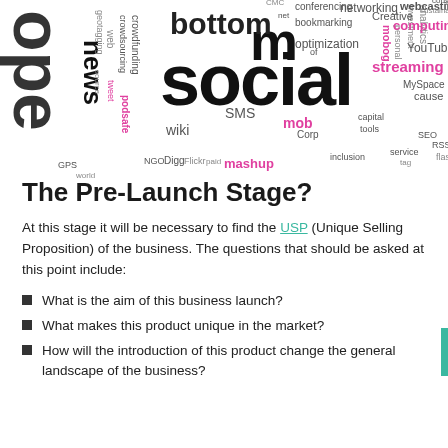[Figure (illustration): A social media word cloud featuring terms like 'social', 'open', 'bottom', 'news', 'streaming', 'computing', 'networking', 'YouTube', 'SMS', 'wiki', 'mashup', 'bookmarking', 'crowdfunding', 'analytics', 'RSS', 'mobog', 'webcasting', and many others in various sizes and colors (black, magenta/pink, grey).]
The Pre-Launch Stage?
At this stage it will be necessary to find the USP (Unique Selling Proposition) of the business. The questions that should be asked at this point include:
What is the aim of this business launch?
What makes this product unique in the market?
How will the introduction of this product change the general landscape of the business?